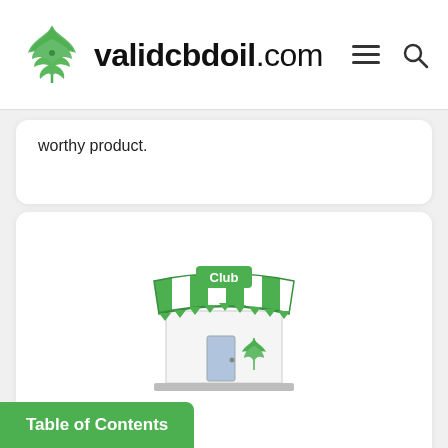validcbdoil.com
worthy product.
[Figure (illustration): Cartoon image of a cannabis dispensary storefront with green and white striped awning, a sign reading 'Club', and a cannabis leaf on the front window/door area.]
Dispensaries:
In states where cannabis can be used recreationally, CBD oils dispensaries can be found almost on every corner. If your state doesn't have significant restrictions and allows to buy CBD without s, you can go there and
Table of Contents